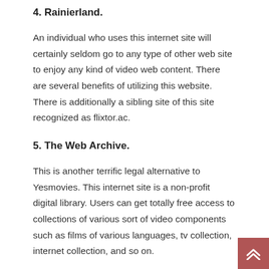4. Rainierland.
An individual who uses this internet site will certainly seldom go to any type of other web site to enjoy any kind of video web content. There are several benefits of utilizing this website. There is additionally a sibling site of this site recognized as flixtor.ac.
5. The Web Archive.
This is another terrific legal alternative to Yesmovies. This internet site is a non-profit digital library. Users can get totally free access to collections of various sort of video components such as films of various languages, tv collection, internet collection, and so on.